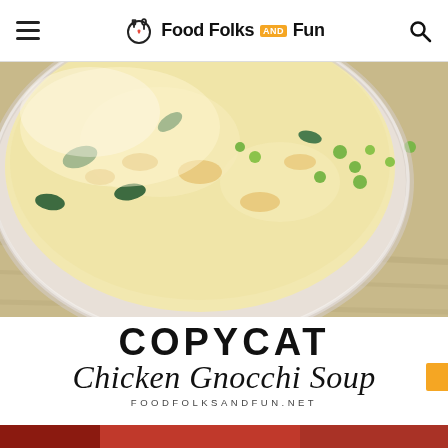Food Folks and Fun
[Figure (photo): Close-up of a bowl of creamy chicken gnocchi soup with spinach, peas, and vegetables in a white bowl on a white wooden surface]
COPYCAT Chicken Gnocchi Soup
FOODFOLKSANDFUN.NET
[Figure (photo): Partial bottom strip showing another food photo]